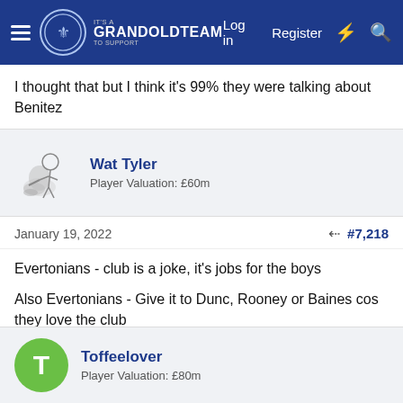GrandOldTeam - Log in | Register
I thought that but I think it's 99% they were talking about Benitez
Wat Tyler
Player Valuation: £60m
January 19, 2022  #7,218
Evertonians - club is a joke, it's jobs for the boys

Also Evertonians - Give it to Dunc, Rooney or Baines cos they love the club
Bob Latchford, Vintage, Carloblues and 12 others
Toffeelover
Player Valuation: £80m